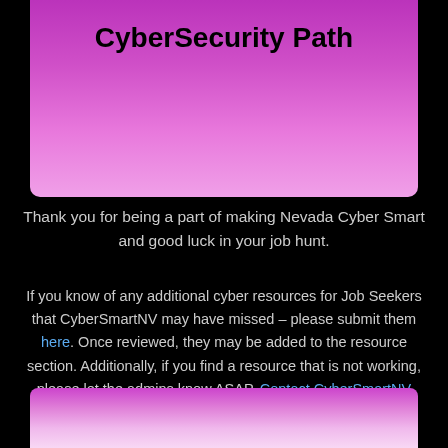CyberSecurity Path
Thank you for being a part of making Nevada Cyber Smart and good luck in your job hunt.
If you know of any additional cyber resources for Job Seekers that CyberSmartNV may have missed – please submit them here. Once reviewed, they may be added to the resource section. Additionally, if you find a resource that is not working, please let the admins know ASAP. Contact CyberSmartNV Admin.
[Figure (other): Pink-to-light-pink gradient banner at bottom of page]